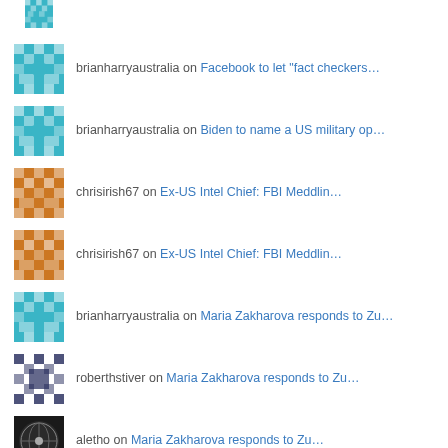brianharryaustralia on Facebook to let "fact checkers…
brianharryaustralia on Biden to name a US military op…
chrisirish67 on Ex-US Intel Chief: FBI Meddlin…
chrisirish67 on Ex-US Intel Chief: FBI Meddlin…
brianharryaustralia on Maria Zakharova responds to Zu…
roberthstiver on Maria Zakharova responds to Zu…
aletho on Maria Zakharova responds to Zu…
Curmudgeon on Ex-US Intel Chief: FBI Meddlin…
View Full Site